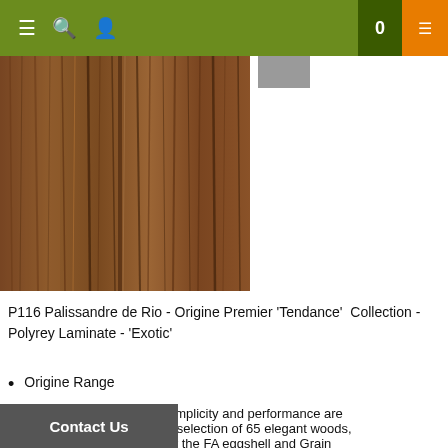Navigation bar with menu, search, and user icons; cart showing 0
[Figure (photo): Close-up photo of dark walnut wood grain laminate texture — rich brown with vertical grain lines]
[Figure (photo): Small grey color swatch thumbnail]
P116 Palissandre de Rio - Origine Premier 'Tendance'  Collection - Polyrey Laminate - 'Exotic'
Origine Range
A collection where simplicity and performance are enhanced through a selection of 65 elegant woods, visually enhanced by the FA eggshell and Grain